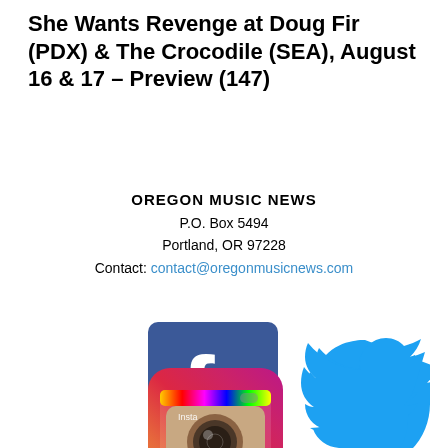She Wants Revenge at Doug Fir (PDX) & The Crocodile (SEA), August 16 & 17 – Preview (147)
OREGON MUSIC NEWS
P.O. Box 5494
Portland, OR 97228
Contact: contact@oregonmusicnews.com
[Figure (logo): Facebook logo - blue square with white lowercase f]
[Figure (logo): Twitter logo - blue bird silhouette]
[Figure (logo): Instagram logo - camera icon with rainbow gradient border]